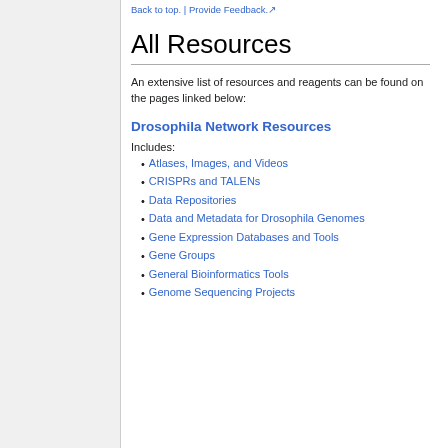Back to top. | Provide Feedback.
All Resources
An extensive list of resources and reagents can be found on the pages linked below:
Drosophila Network Resources
Includes:
Atlases, Images, and Videos
CRISPRs and TALENs
Data Repositories
Data and Metadata for Drosophila Genomes
Gene Expression Databases and Tools
Gene Groups
General Bioinformatics Tools
Genome Sequencing Projects